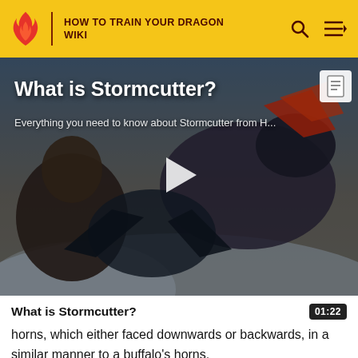HOW TO TRAIN YOUR DRAGON WIKI
[Figure (screenshot): Video thumbnail showing animated scene from How to Train Your Dragon with dragons. Title overlay reads 'What is Stormcutter?' with subtitle 'Everything you need to know about Stormcutter from H...' and a play button in the center.]
What is Stormcutter?
01:22
horns, which either faced downwards or backwards, in a similar manner to a buffalo's horns.
Physical Appearance